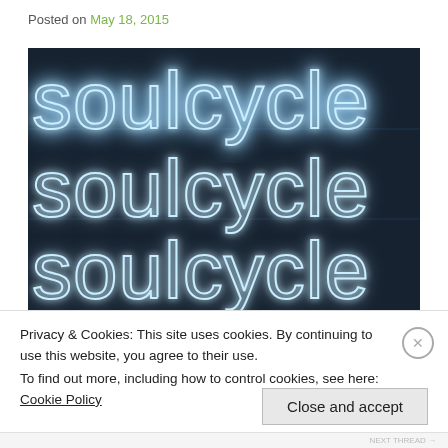Posted on May 18, 2015
[Figure (photo): Neon sign reading 'soulcycle' repeated in white/blue neon lighting on dark background, shown in multiple rows]
Privacy & Cookies: This site uses cookies. By continuing to use this website, you agree to their use. To find out more, including how to control cookies, see here: Cookie Policy
Close and accept